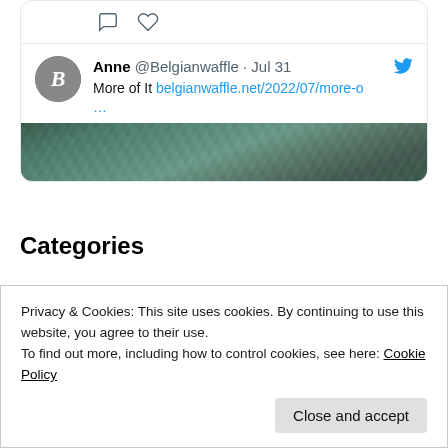[Figure (screenshot): Tweet card from Anne @Belgianwaffle dated Jul 31 with text 'More of It belgianwaffle.net/2022/07/more-o ...' and a thumbnail image of greenish textured surface. Includes comment and heart icons above the tweet.]
Categories
Belgium (144)
Boys (858)
Privacy & Cookies: This site uses cookies. By continuing to use this website, you agree to their use. To find out more, including how to control cookies, see here: Cookie Policy
Close and accept